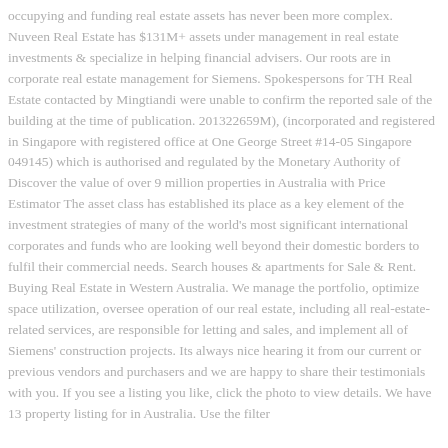occupying and funding real estate assets has never been more complex. Nuveen Real Estate has $131M+ assets under management in real estate investments & specialize in helping financial advisers. Our roots are in corporate real estate management for Siemens. Spokespersons for TH Real Estate contacted by Mingtiandi were unable to confirm the reported sale of the building at the time of publication. 201322659M), (incorporated and registered in Singapore with registered office at One George Street #14-05 Singapore 049145) which is authorised and regulated by the Monetary Authority of Discover the value of over 9 million properties in Australia with Price Estimator The asset class has established its place as a key element of the investment strategies of many of the world's most significant international corporates and funds who are looking well beyond their domestic borders to fulfil their commercial needs. Search houses & apartments for Sale & Rent. Buying Real Estate in Western Australia. We manage the portfolio, optimize space utilization, oversee operation of our real estate, including all real-estate-related services, are responsible for letting and sales, and implement all of Siemens' construction projects. Its always nice hearing it from our current or previous vendors and purchasers and we are happy to share their testimonials with you. If you see a listing you like, click the photo to view details. We have 13 property listing for in Australia. Use the filter